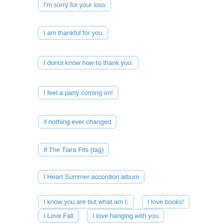I'm sorry for your loss
I am thankful for you
I donut know how to thank you.
I feel a party coming on!
if nothing ever changed
If The Tiara Fits (tag)
If youve got it haunt it!
I Heart Summer accordion album
I know you are but what am I;
I love books!
I Love Fall
I love hanging with you
I Love Mew!
i love us
I Love You